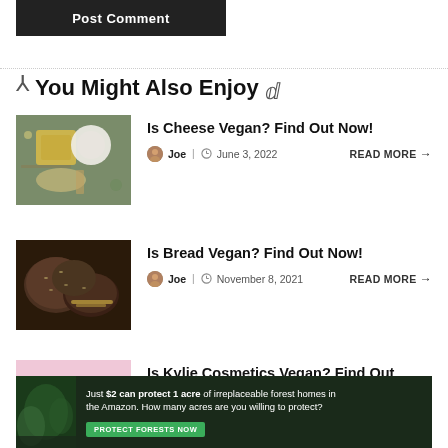[Figure (other): Dark Post Comment button]
You Might Also Enjoy
[Figure (photo): Various cheeses on a dark board with herbs]
Is Cheese Vegan? Find Out Now!
Joe | June 3, 2022 READ MORE →
[Figure (photo): Dark rye bread rolls with wheat stalk]
Is Bread Vegan? Find Out Now!
Joe | November 8, 2021 READ MORE →
[Figure (photo): Kylie Cosmetics makeup items spread on pink background]
Is Kylie Cosmetics Vegan? Find Out Now!
[Figure (other): Ad banner: Just $2 can protect 1 acre of irreplaceable forest homes in the Amazon. How many acres are you willing to protect? PROTECT FORESTS NOW]